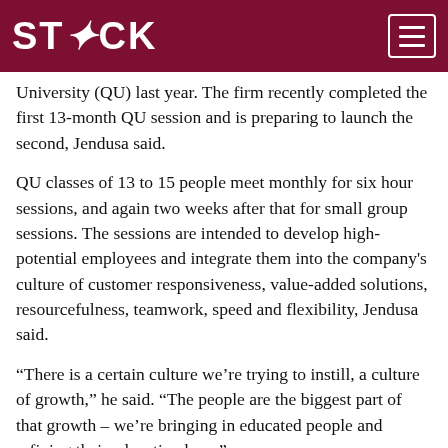STACK
University (QU) last year. The firm recently completed the first 13-month QU session and is preparing to launch the second, Jendusa said.
QU classes of 13 to 15 people meet monthly for six hour sessions, and again two weeks after that for small group sessions. The sessions are intended to develop high-potential employees and integrate them into the company's culture of customer responsiveness, value-added solutions, resourcefulness, teamwork, speed and flexibility, Jendusa said.
“There is a certain culture we’re trying to instill, a culture of growth,” he said. “The people are the biggest part of that growth – we’re bringing in educated people and refining their education here.”
The program, originally developed with the assistance